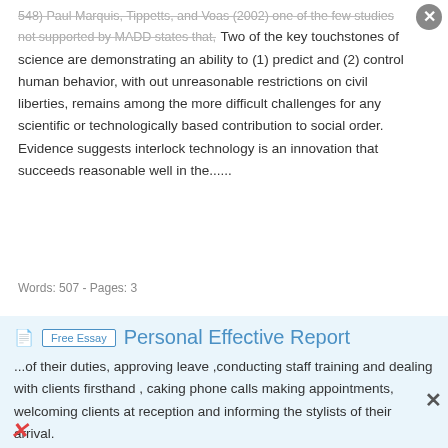548) Paul Marquis, Tippetts, and Voas (2002) one of the few studies not supported by MADD states that, Two of the key touchstones of science are demonstrating an ability to (1) predict and (2) control human behavior, with out unreasonable restrictions on civil liberties, remains among the more difficult challenges for any scientific or technologically based contribution to social order. Evidence suggests interlock technology is an innovation that succeeds reasonable well in the......
Words: 507 - Pages: 3
Personal Effective Report
...of their duties, approving leave ,conducting staff training and dealing with clients firsthand , caking phone calls making appointments, welcoming clients at reception and informing the stylists of their arrival.